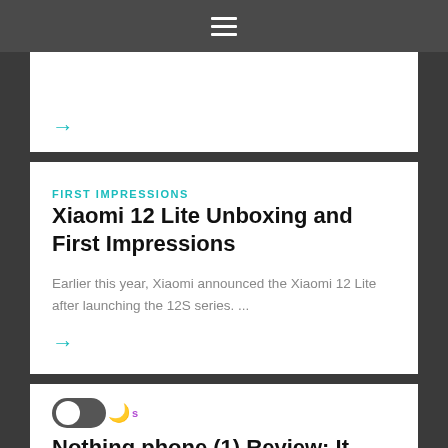☰
→
FIRST IMPRESSIONS
Xiaomi 12 Lite Unboxing and First Impressions
Earlier this year, Xiaomi announced the Xiaomi 12 Lite after launching the 12S series. ...
→
s
Nothing phone (1) Review: It